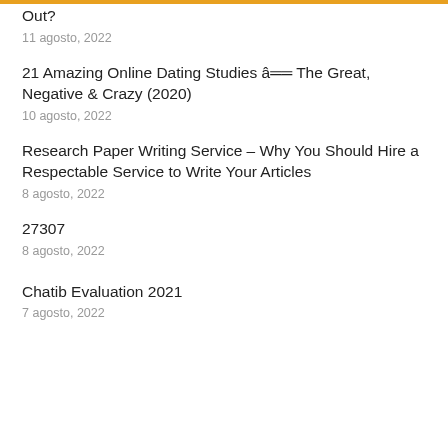Out?
11 agosto, 2022
21 Amazing Online Dating Studies â The Great, Negative & Crazy (2020)
10 agosto, 2022
Research Paper Writing Service – Why You Should Hire a Respectable Service to Write Your Articles
8 agosto, 2022
27307
8 agosto, 2022
Chatib Evaluation 2021
7 agosto, 2022